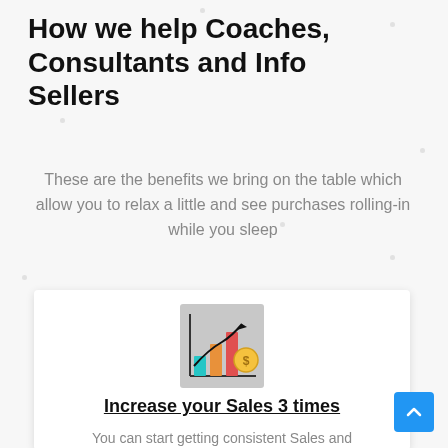How we help Coaches, Consultants and Info Sellers
These are the benefits we bring on the table which allow you to relax a little and see purchases rolling-in while you sleep
[Figure (illustration): Bar chart growth icon with upward arrow, colorful bars (teal, orange, red) and a gold coin with dollar sign]
Increase your Sales 3 times
You can start getting consistent Sales and